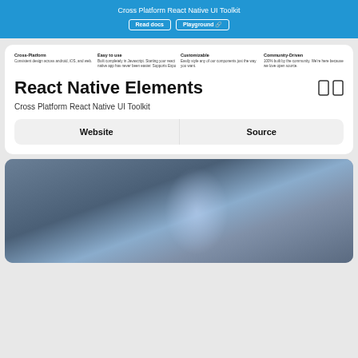Cross Platform React Native UI Toolkit
Read docs
Playground 🔗
Cross-Platform
Consistent design across android, iOS, and web.
Easy to use
Built completely in Javascript. Starting your react native app has never been easier. Supports Expo
Customizable
Easily style any of our components just the way you want.
Community-Driven
100% built by the community. We're here because we love open source.
React Native Elements
Cross Platform React Native UI Toolkit
Website
Source
[Figure (screenshot): Blurred screenshot showing a dark blue/grey gradient background with a light glow effect in the center-right]